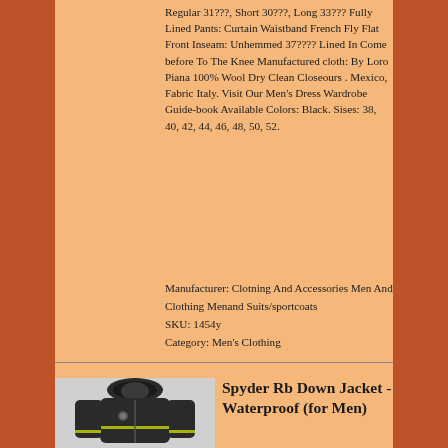Regular 31???, Short 30???, Long 33??? Fully Lined Pants: Curtain Waistband French Fly Flat Front Inseam: Unhemmed 37???? Lined In Come before To The Knee Manufactured cloth: By Loro Piana 100% Wool Dry Clean Closeours . Mexico, Fabric Italy. Visit Our Men's Dress Wardrobe Guide-book Available Colors: Black. Sises: 38, 40, 42, 44, 46, 48, 50, 52.
Manufacturer: Clotning And Accessories Men And Clothing Menand Suits/sportcoats
SKU: 1454y
Category: Men's Clothing
[Figure (photo): Photo of a dark Spyder Rb Down Jacket with fur-trimmed hood]
Spyder Rb Down Jacket - Waterproof (for Men)
Spyder rb down jacket waterproof...